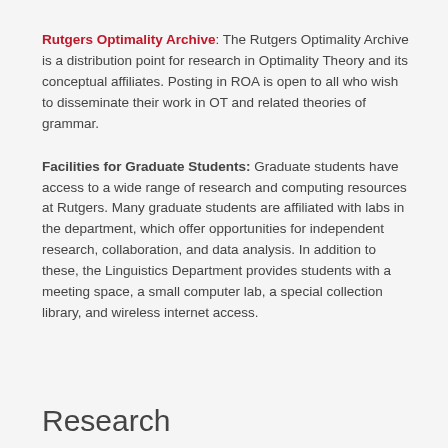Rutgers Optimality Archive: The Rutgers Optimality Archive is a distribution point for research in Optimality Theory and its conceptual affiliates. Posting in ROA is open to all who wish to disseminate their work in OT and related theories of grammar.
Facilities for Graduate Students: Graduate students have access to a wide range of research and computing resources at Rutgers. Many graduate students are affiliated with labs in the department, which offer opportunities for independent research, collaboration, and data analysis. In addition to these, the Linguistics Department provides students with a meeting space, a small computer lab, a special collection library, and wireless internet access.
Research